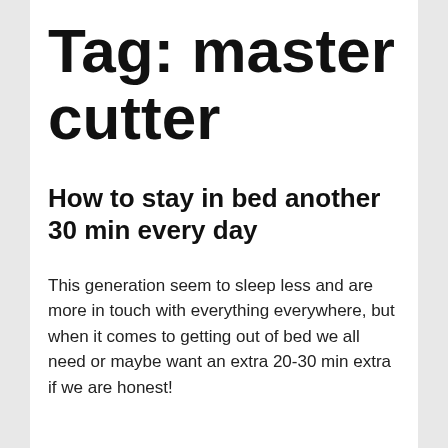Tag: master cutter
How to stay in bed another 30 min every day
This generation seem to sleep less and are more in touch with everything everywhere, but when it comes to getting out of bed we all need or maybe want an extra 20-30 min extra if we are honest!